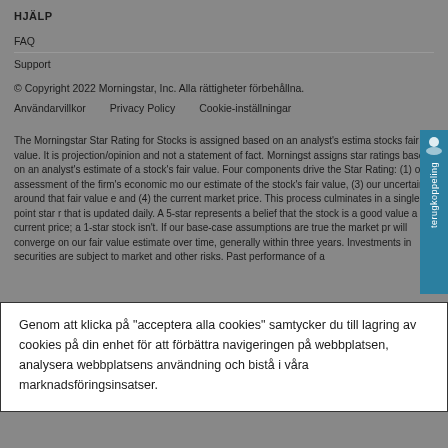HJÄLP
FAQ
Support
© Copyright 2022 Morningstar, Inc. Alla rättigheter förbehållna.
Användarvillkor    Privacy Policy    Cookie-inställningar
The Morningstar Star Rating for Stocks is assigned based on an analyst's estima stocks fair value. It is projection/opinion and not a statement of fact. Morningst assigns star ratings based on an analyst's estimate of a stock's fair value. Four components drive the Star Rating: (1) our assessment of the firm's economic mo our estimate of the stock's fair value, (3) our uncertainty around that fair value e and (4) the current market price. This process culminates in a single-point star r that is updated daily. A 5-star represents a belief that the stock is a good value a current price; a 1-star stock isn't. If our base-case assumptions are true the market pr will converge on our fair value estimate over time, generally within three years. Investments in securities are subject to market and other risks. Past performance of a
Genom att klicka på "acceptera alla cookies" samtycker du till lagring av cookies på din enhet för att förbättra navigeringen på webbplatsen, analysera webbplatsens användning och bistå i våra marknadsföringsinsatser.